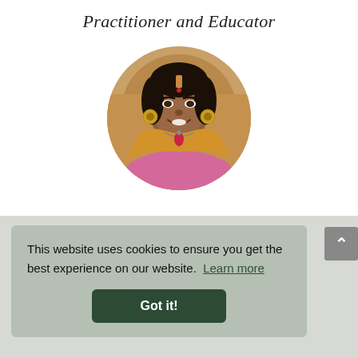Practitioner and Educator
[Figure (photo): Circular portrait photo of a woman smiling, wearing a pink top with a golden/mustard scarf and red pendant necklace, with a bindi on her forehead and dangling earrings.]
This website uses cookies to ensure you get the best experience on our website.  Learn more
Got it!